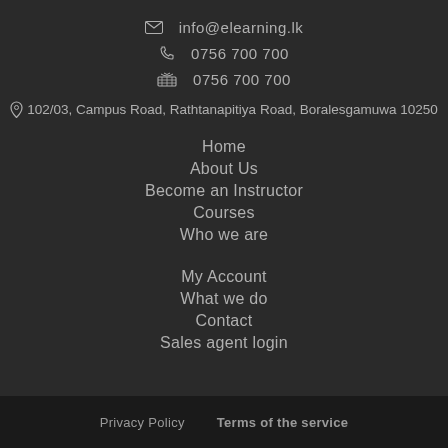info@elearning.lk
0756 700 700
0756 700 700
102/03, Campus Road, Rathtanapitiya Road, Boralesgamuwa 10250
Home
About Us
Become an Instructor
Courses
Who we are
My Account
What we do
Contact
Sales agent login
Privacy Policy   Terms of the service